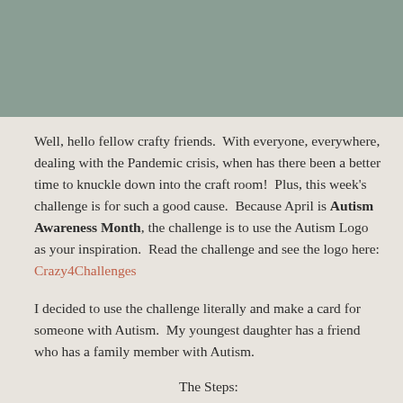[Figure (photo): Muted sage green/grey rectangular image block at the top of the page]
Well, hello fellow crafty friends.  With everyone, everywhere, dealing with the Pandemic crisis, when has there been a better time to knuckle down into the craft room!  Plus, this week's challenge is for such a good cause.  Because April is Autism Awareness Month, the challenge is to use the Autism Logo as your inspiration.  Read the challenge and see the logo here: Crazy4Challenges
I decided to use the challenge literally and make a card for someone with Autism.  My youngest daughter has a friend who has a family member with Autism.
The Steps: